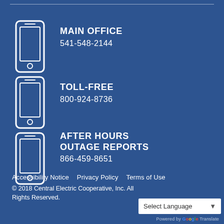[Figure (illustration): Phone icon for Main Office]
MAIN OFFICE
541-548-2144
[Figure (illustration): Phone icon for Toll-Free]
TOLL-FREE
800-924-8736
[Figure (illustration): Phone icon for After Hours Outage Reports]
AFTER HOURS OUTAGE REPORTS
866-459-8651
Accessibility Notice   Privacy Policy   Terms of Use
© 2018 Central Electric Cooperative, Inc. All Rights Reserved.